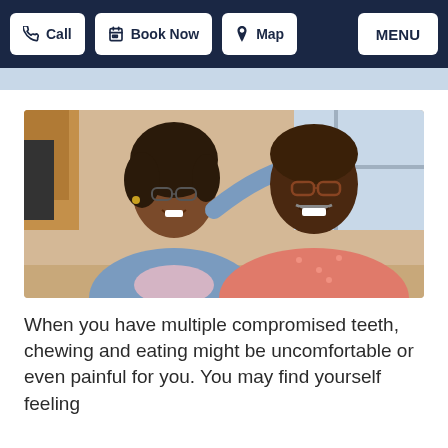Call | Book Now | Map | MENU
[Figure (photo): A smiling older African American couple sitting together indoors. The woman on the left wears glasses and a blue chambray shirt; the man on the right wears glasses and a salmon/pink shirt. They are posed closely together with a window and warm interior background.]
When you have multiple compromised teeth, chewing and eating might be uncomfortable or even painful for you. You may find yourself feeling